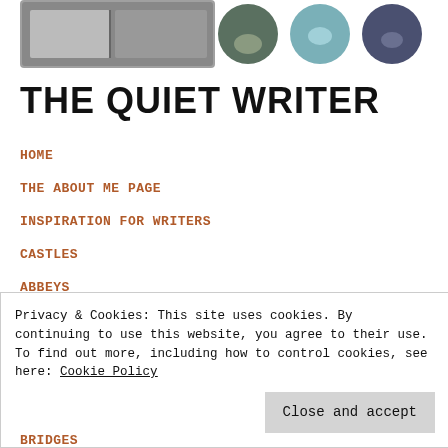[Figure (photo): Header images: a rectangular book/open page photo and three circular portrait/illustration images]
THE QUIET WRITER
HOME
THE ABOUT ME PAGE
INSPIRATION FOR WRITERS
CASTLES
ABBEYS
CATHEDRALS
Privacy & Cookies: This site uses cookies. By continuing to use this website, you agree to their use.
To find out more, including how to control cookies, see here: Cookie Policy
BRIDGES